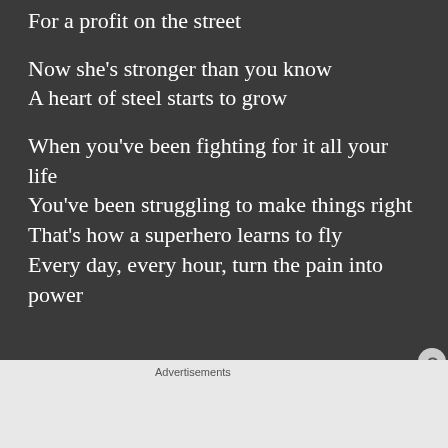For a profit on the street
Now she’s stronger than you know
A heart of steel starts to grow
When you’ve been fighting for it all your life
You’ve been struggling to make things right
That’s how a superhero learns to fly
Every day, every hour, turn the pain into power
[Figure (screenshot): WooCommerce advertisement banner: 'How to start selling subscriptions online']
Advertisements